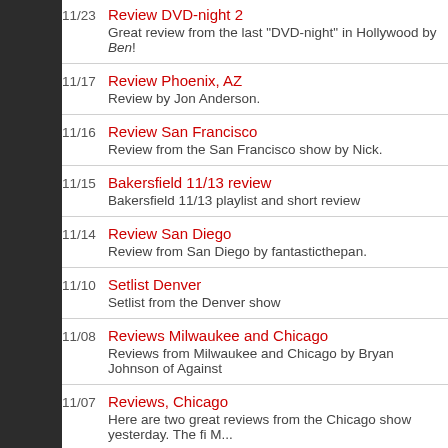11/23 Review DVD-night 2 — Great review from the last "DVD-night" in Hollywood by Ben!
11/17 Review Phoenix, AZ — Review by Jon Anderson.
11/16 Review San Francisco — Review from the San Francisco show by Nick.
11/15 Bakersfield 11/13 review — Bakersfield 11/13 playlist and short review
11/14 Review San Diego — Review from San Diego by fantasticthepan.
11/10 Setlist Denver — Setlist from the Denver show
11/08 Reviews Milwaukee and Chicago — Reviews from Milwaukee and Chicago by Bryan Johnson of Against
11/07 Reviews, Chicago — Here are two great reviews from the Chicago show yesterday. The fi M...
11/07 Review Toronto, Canada — Review from Toronto on 3rd November by Kevin Rimney
11/04 Review Toronto, Canada — Great review and setlist from Toronto by Sublime.